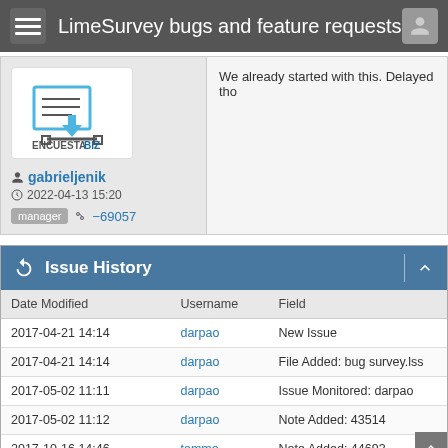LimeSurvey bugs and feature requests
[Figure (logo): EncuestaBiz logo showing document upload icon with cyan brand text]
gabrieljenik
2022-04-13 15:20
manager  −69057
We already started with this. Delayed tho
| Date Modified | Username | Field |
| --- | --- | --- |
| 2017-04-21 14:14 | darpao | New Issue |
| 2017-04-21 14:14 | darpao | File Added: bug survey.lss |
| 2017-05-02 11:11 | darpao | Issue Monitored: darpao |
| 2017-05-02 11:12 | darpao | Note Added: 43514 |
| 2017-10-16 14:46 | tammo | Note Added: 44693 |